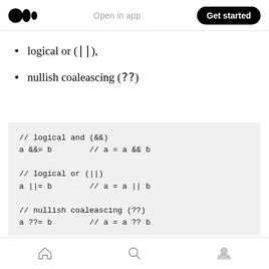Medium app header — Open in app | Get started
logical or (||),
nullish coaleascing (??)
[Figure (screenshot): Code block showing logical assignment operators: // logical and (&&)
a &&= b        // a = a && b

// logical or (||)
a ||= b        // a = a || b

// nullish coaleascing (??)
a ??= b        // a = a ?? b]
Bottom navigation bar with home, search, and profile icons